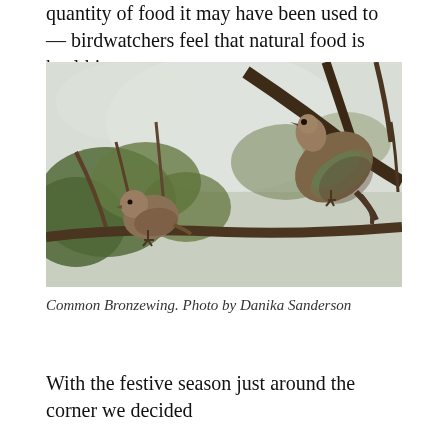quantity of food it may have been used to — birdwatchers feel that natural food is healthiest.
[Figure (photo): Two Common Bronzewing pigeons perched on branches in a tree, photographed from below against a hazy sky with green foliage visible. One bird is in the lower left and a larger bird is perched on a branch in the upper right.]
Common Bronzewing. Photo by Danika Sanderson
With the festive season just around the corner we decided